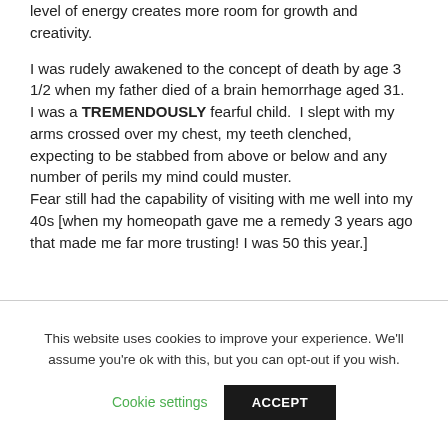level of energy creates more room for growth and creativity.
I was rudely awakened to the concept of death by age 3 1/2 when my father died of a brain hemorrhage aged 31.
I was a TREMENDOUSLY fearful child.  I slept with my arms crossed over my chest, my teeth clenched, expecting to be stabbed from above or below and any number of perils my mind could muster.
Fear still had the capability of visiting with me well into my 40s [when my homeopath gave me a remedy 3 years ago that made me far more trusting! I was 50 this year.]
This website uses cookies to improve your experience. We'll assume you're ok with this, but you can opt-out if you wish.
Cookie settings
ACCEPT